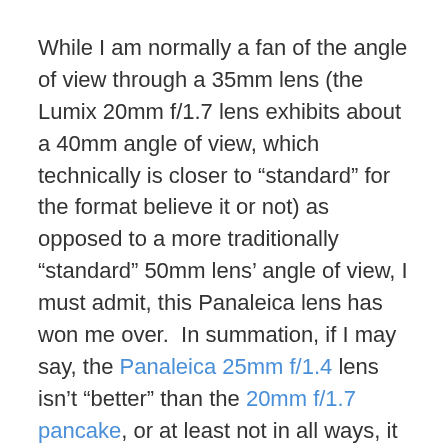While I am normally a fan of the angle of view through a 35mm lens (the Lumix 20mm f/1.7 lens exhibits about a 40mm angle of view, which technically is closer to “standard” for the format believe it or not) as opposed to a more traditionally “standard” 50mm lens’ angle of view, I must admit, this Panaleica lens has won me over.  In summation, if I may say, the Panaleica 25mm f/1.4 lens isn’t “better” than the 20mm f/1.7 pancake, or at least not in all ways, it is just different and produces a different signature.  Whether that signature is better or worse will come down to a personal decision as well as a balancing of size, speed, price and performance as well as the difference in angle of view for any given person.
I’m not sure how long it will take me to become comfortable with selling off the 20mm f/1.7 pancake, but I